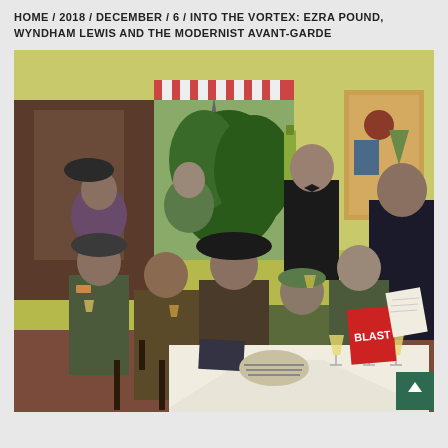HOME / 2018 / DECEMBER / 6 / INTO THE VORTEX: EZRA POUND, WYNDHAM LEWIS AND THE MODERNIST AVANT-GARDE
[Figure (illustration): A colorful modernist painting depicting a group of men and women gathered around a café table. Several figures hold books and drinks. A red book labeled 'BLAST' is prominently displayed on the table along with cocktail glasses. The scene is set in a Parisian café with the Eiffel Tower visible through a window in the background. The painting style is expressive and figurative with muted greens, browns, and purples. A scroll-to-top button (green square with upward arrow) appears in the bottom right corner of the image.]